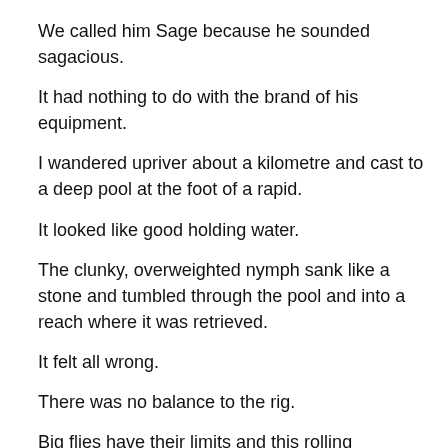We called him Sage because he sounded sagacious.
It had nothing to do with the brand of his equipment.
I wandered upriver about a kilometre and cast to a deep pool at the foot of a rapid.
It looked like good holding water.
The clunky, overweighted nymph sank like a stone and tumbled through the pool and into a reach where it was retrieved.
It felt all wrong.
There was no balance to the rig.
Big flies have their limits and this rolling monstrosity had no appeal to either man or fish.
A lighter stonefly imitation felt much better.
Its drift was smooth, with an occasional touch on the bottom to prove it was at the right depth.